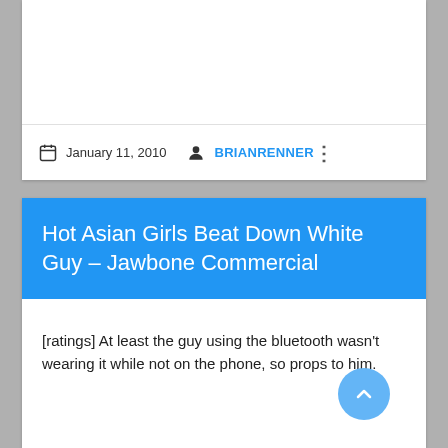January 11, 2010   BRIANRENNER
Hot Asian Girls Beat Down White Guy – Jawbone Commercial
[ratings] At least the guy using the bluetooth wasn't wearing it while not on the phone, so props to him.